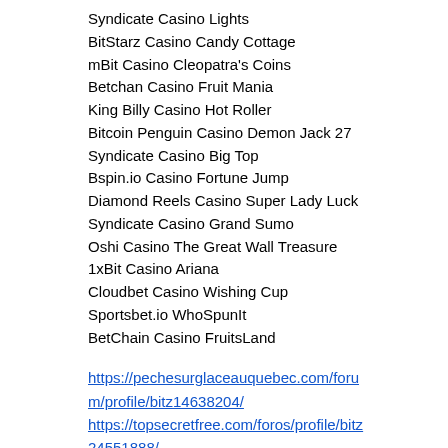Syndicate Casino Lights
BitStarz Casino Candy Cottage
mBit Casino Cleopatra's Coins
Betchan Casino Fruit Mania
King Billy Casino Hot Roller
Bitcoin Penguin Casino Demon Jack 27
Syndicate Casino Big Top
Bspin.io Casino Fortune Jump
Diamond Reels Casino Super Lady Luck
Syndicate Casino Grand Sumo
Oshi Casino The Great Wall Treasure
1xBit Casino Ariana
Cloudbet Casino Wishing Cup
Sportsbet.io WhoSpunIt
BetChain Casino FruitsLand
https://pechesurglaceauquebec.com/forum/profile/bitz14638204/ https://topsecretfree.com/foros/profile/bitz24551888/ https://www.etstech.info/profile/kazino-avtomaty-igrat-5579/profile